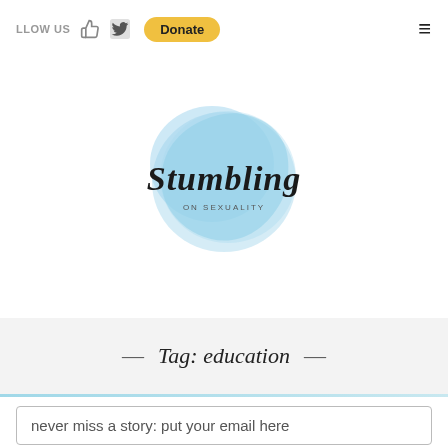LLOW US  [thumb icon] [twitter icon]  Donate  [menu icon]
[Figure (logo): Stumbling on Sexuality logo — cursive script 'Stumbling' over a light blue watercolor circle with small text 'ON SEXUALITY' beneath]
— Tag: education —
never miss a story: put your email here
hurray!